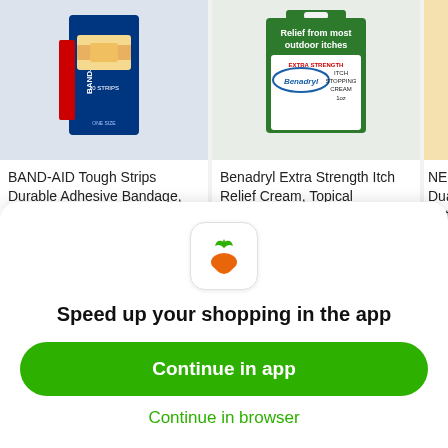[Figure (screenshot): Product listing for BAND-AID Tough Strips Durable Adhesive Bandage, One Size showing product image]
BAND-AID Tough Strips Durable Adhesive Bandage, One Size
20 ct
[Figure (screenshot): Product listing for Benadryl Extra Strength Itch Relief Cream, Topical Analgesic showing product image]
Benadryl Extra Strength Itch Relief Cream, Topical Analgesic
1 oz
NEOS Dual A Antibi 0.5 fl
Get deliveries with Instacart
iOS  Android
[Figure (logo): Instacart carrot logo icon in app icon style]
Speed up your shopping in the app
Continue in app
Continue in browser